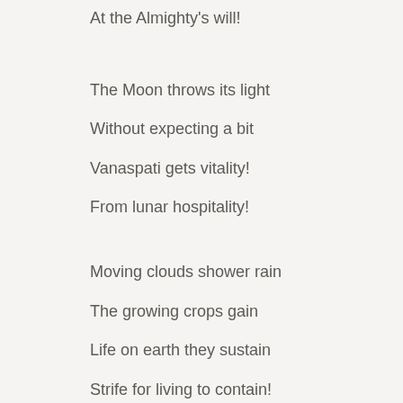At the Almighty's will!
The Moon throws its light
Without expecting a bit
Vanaspati gets vitality!
From lunar hospitality!
Moving clouds shower rain
The growing crops gain
Life on earth they sustain
Strife for living to contain!